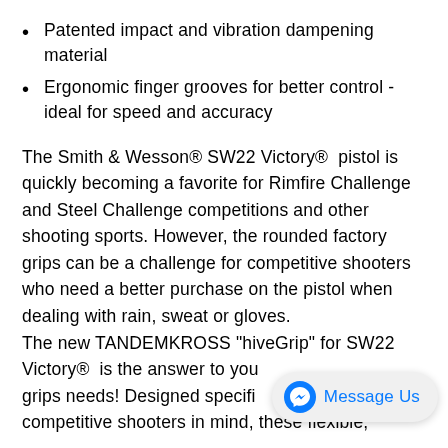Patented impact and vibration dampening material
Ergonomic finger grooves for better control - ideal for speed and accuracy
The Smith & Wesson® SW22 Victory® pistol is quickly becoming a favorite for Rimfire Challenge and Steel Challenge competitions and other shooting sports. However, the rounded factory grips can be a challenge for competitive shooters who need a better purchase on the pistol when dealing with rain, sweat or gloves.
The new TANDEMKROSS "hiveGrip" for SW22 Victory® is the answer to you SW22 Victory G grips needs! Designed specifi competitive shooters in mind, these flexible,